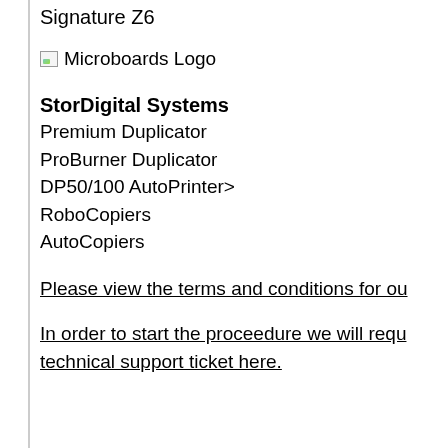Signature Z6
[Figure (logo): Microboards Logo - broken image icon followed by text 'Microboards Logo']
StorDigital Systems
Premium Duplicator
ProBurner Duplicator
DP50/100 AutoPrinter>
RoboCopiers
AutoCopiers
Please view the terms and conditions for ou
In order to start the proceedure we will requ technical support ticket here.